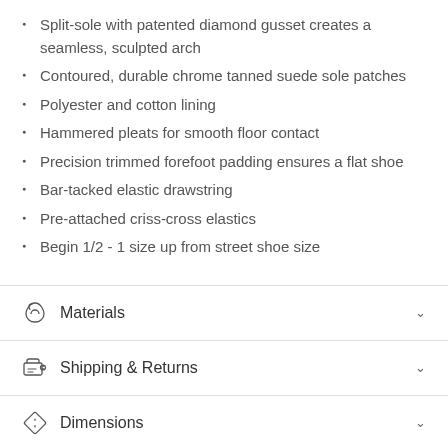Split-sole with patented diamond gusset creates a seamless, sculpted arch
Contoured, durable chrome tanned suede sole patches
Polyester and cotton lining
Hammered pleats for smooth floor contact
Precision trimmed forefoot padding ensures a flat shoe
Bar-tacked elastic drawstring
Pre-attached criss-cross elastics
Begin 1/2 - 1 size up from street shoe size
Materials
Shipping & Returns
Dimensions
Care Instructions